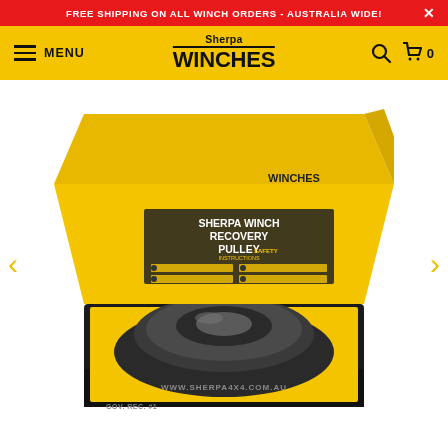FREE SHIPPING ON ALL WINCH ORDERS - AUSTRALIA WIDE!
Sherpa WINCHES — MENU — Search — Cart 0
[Figure (photo): Sherpa Winch Recovery Pulley product shown in an open black and yellow branded box. The box interior is yellow with 'SHERPA WINCH RECOVERY PULLEY' and safety instructions printed inside the lid. A dark metallic recovery pulley sits in foam padding inside the black box. The box exterior reads 'WWW.SHERPA4X4.COM.AU'.]